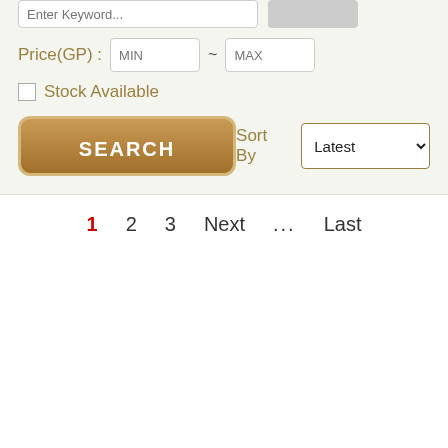Enter Keyword...
Price(GP): MIN ~ MAX
Stock Available
SEARCH
Sort By Latest
1  2  3  Next  ...  Last